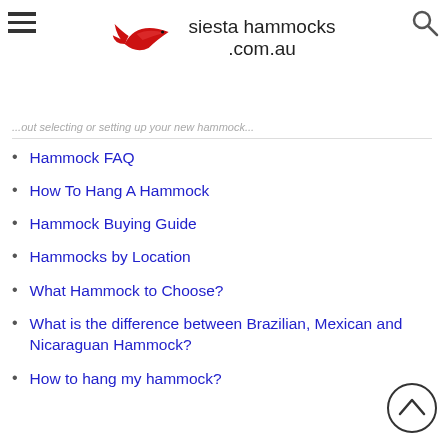[Figure (logo): Siesta Hammocks logo with red stylized bird/fish and text 'siesta hammocks .com.au']
...out selecting or setting up your new hammock...
Hammock FAQ
How To Hang A Hammock
Hammock Buying Guide
Hammocks by Location
What Hammock to Choose?
What is the difference between Brazilian, Mexican and Nicaraguan Hammock?
How to hang my hammock?